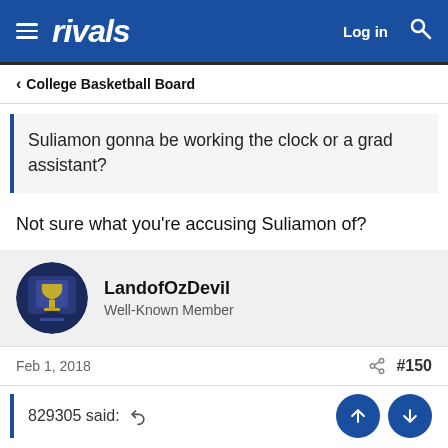rivals — Log in
< College Basketball Board
Suliamon gonna be working the clock or a grad assistant?
Not sure what you’re accusing Suliamon of?
LandofOzDevil
Well-Known Member
Feb 1, 2018  #150
829305 said: